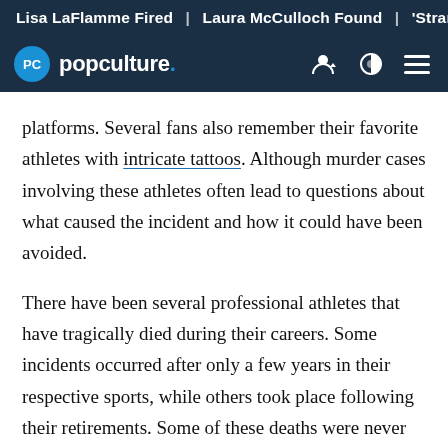Lisa LaFlamme Fired | Laura McCulloch Found | 'Strange Adv
popculture.
platforms. Several fans also remember their favorite athletes with intricate tattoos. Although murder cases involving these athletes often lead to questions about what caused the incident and how it could have been avoided.
There have been several professional athletes that have tragically died during their careers. Some incidents occurred after only a few years in their respective sports, while others took place following their retirements. Some of these deaths were never solved by the investigators.
Sports fans know the big names, such as Sean Taylor and